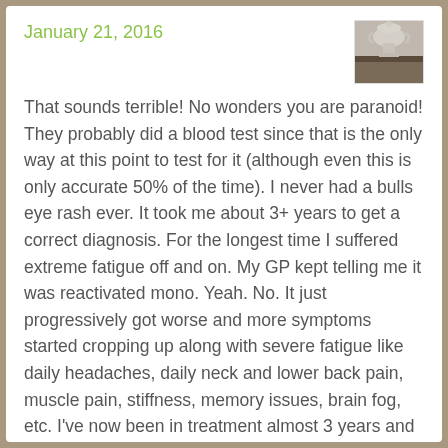January 21, 2016
[Figure (photo): Small user avatar photo showing a trophy/vase object on a dark surface]
That sounds terrible! No wonders you are paranoid! They probably did a blood test since that is the only way at this point to test for it (although even this is only accurate 50% of the time). I never had a bulls eye rash ever. It took me about 3+ years to get a correct diagnosis. For the longest time I suffered extreme fatigue off and on. My GP kept telling me it was reactivated mono. Yeah. No. It just progressively got worse and more symptoms started cropping up along with severe fatigue like daily headaches, daily neck and lower back pain, muscle pain, stiffness, memory issues, brain fog, etc. I've now been in treatment almost 3 years and I am making progress 😊 I am just glad I didn't stop pursuing even after I was diagnosed